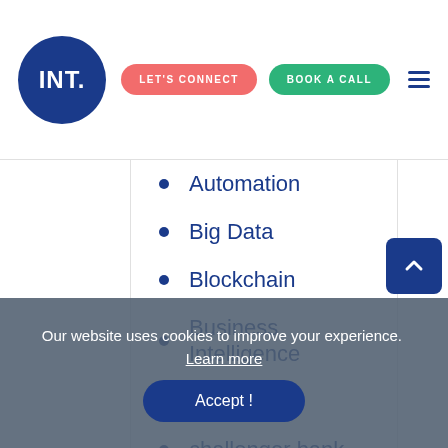[Figure (logo): INT. logo — white text on dark blue circle]
Automation
Big Data
Blockchain
Business Intelligence
Buy Hours
challenger bank
Cloud
Data Analysis
Data Engineering
Our website uses cookies to improve your experience. Learn more
Accept !